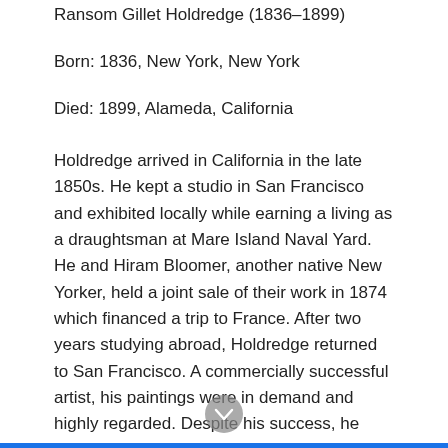Ransom Gillet Holdredge (1836–1899)
Born: 1836, New York, New York
Died: 1899, Alameda, California
Holdredge arrived in California in the late 1850s. He kept a studio in San Francisco and exhibited locally while earning a living as a draughtsman at Mare Island Naval Yard. He and Hiram Bloomer, another native New Yorker, held a joint sale of their work in 1874 which financed a trip to France. After two years studying abroad, Holdredge returned to San Francisco. A commercially successful artist, his paintings were in demand and highly regarded. Despite his success, he died from malnutrition and alcoholism in Alameda County Infirmary.
This landscape is perhaps one of the finest examples